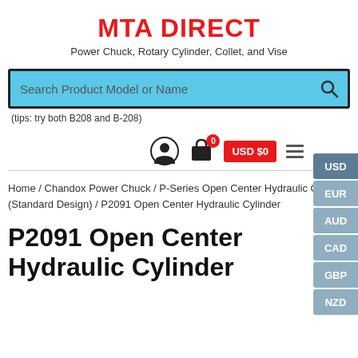MTA DIRECT
Power Chuck, Rotary Cylinder, Collet, and Vise
[Figure (screenshot): Search bar with blue background and search icon, placeholder text: Search Product Model or Name]
(tips: try both B208 and B-208)
[Figure (infographic): Toolbar with user icon, shopping cart with badge 0, USD $0 red button, hamburger menu icon, and currency selector panel (USD, EUR, AUD, CAD, GBP, NZD)]
Home / Chandox Power Chuck / P-Series Open Center Hydraulic Cylinder (Standard Design) / P2091 Open Center Hydraulic Cylinder
P2091 Open Center Hydraulic Cylinder